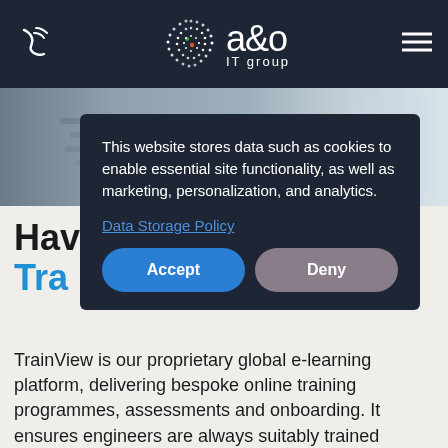[Figure (logo): a&o IT group logo with dotted sphere graphic in dark navy header bar, with phone icon on left and hamburger menu on right]
[Figure (photo): Photo strip showing a laptop keyboard, partially visible, in grayscale/blue tones]
This website stores data such as cookies to enable essential site functionality, as well as marketing, personalization, and analytics.
Data Storage Policy
Accept
Deny
Have
TrainView
TrainView is our proprietary global e-learning platform, delivering bespoke online training programmes, assessments and onboarding. It ensures engineers are always suitably trained